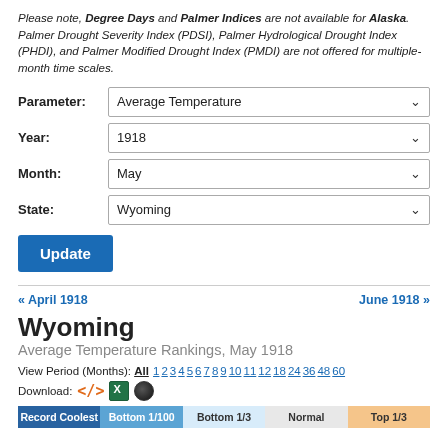Please note, Degree Days and Palmer Indices are not available for Alaska. Palmer Drought Severity Index (PDSI), Palmer Hydrological Drought Index (PHDI), and Palmer Modified Drought Index (PMDI) are not offered for multiple-month time scales.
Parameter: Average Temperature
Year: 1918
Month: May
State: Wyoming
Update
« April 1918    June 1918 »
Wyoming
Average Temperature Rankings, May 1918
View Period (Months): All 1 2 3 4 5 6 7 8 9 10 11 12 18 24 36 48 60
Download:
Record Coolest  Bottom 1/100  Bottom 1/3  Normal  Top 1/3